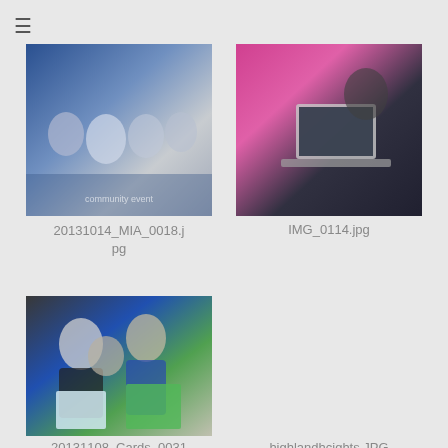[Figure (photo): Group of people in white shirts sitting in a room, appears to be a community or volunteer event]
20131014_MIA_0018.jpg
[Figure (photo): Children and adults looking at a laptop screen, educational setting]
IMG_0114.jpg
[Figure (photo): Three people posing with children's artwork/holiday cards, two adults and one child]
20131108_Cards_0031
highlandhcights.JPG